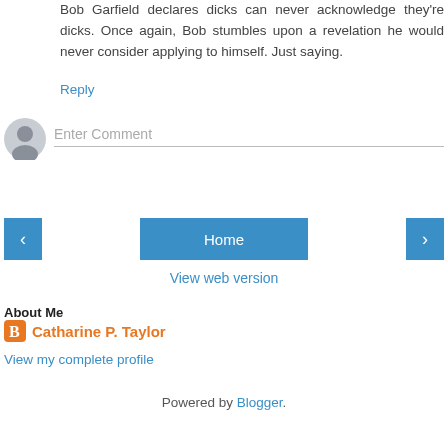Bob Garfield declares dicks can never acknowledge they're dicks. Once again, Bob stumbles upon a revelation he would never consider applying to himself. Just saying.
Reply
[Figure (illustration): Gray anonymous user avatar circle icon]
Enter Comment
[Figure (infographic): Navigation buttons: left arrow, Home, right arrow]
View web version
About Me
[Figure (logo): Blogger orange B logo icon]
Catharine P. Taylor
View my complete profile
Powered by Blogger.